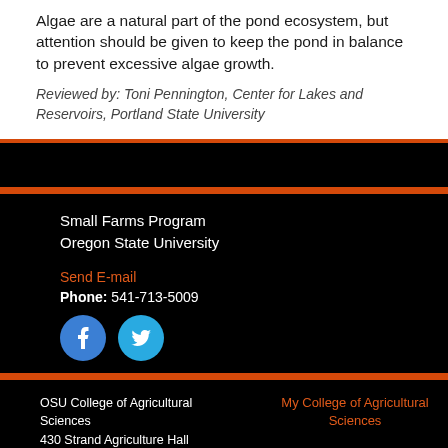Algae are a natural part of the pond ecosystem, but attention should be given to keep the pond in balance to prevent excessive algae growth.
Reviewed by: Toni Pennington, Center for Lakes and Reservoirs, Portland State University
Small Farms Program
Oregon State University
Send E-mail
Phone: 541-713-5009
[Figure (illustration): Facebook and Twitter social media icon circles]
OSU College of Agricultural Sciences
430 Strand Agriculture Hall
Corvallis, Oregon 97331
My College of Agricultural Sciences
[Figure (illustration): Facebook, Instagram, and Twitter social media icon circles]